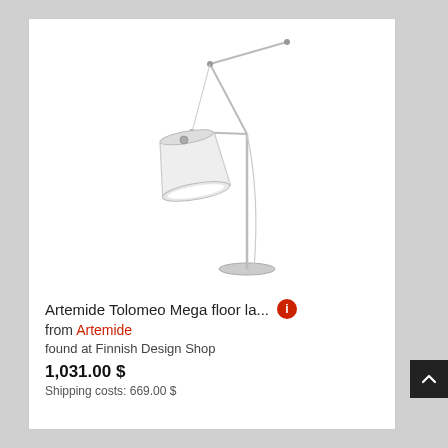[Figure (photo): Artemide Tolomeo Mega floor lamp product photo on white background, showing a tall articulated chrome/silver floor lamp with a white fabric drum shade, extending arm, and circular base]
Artemide Tolomeo Mega floor la...
from Artemide
found at Finnish Design Shop
1,031.00 $
Shipping costs: 669.00 $